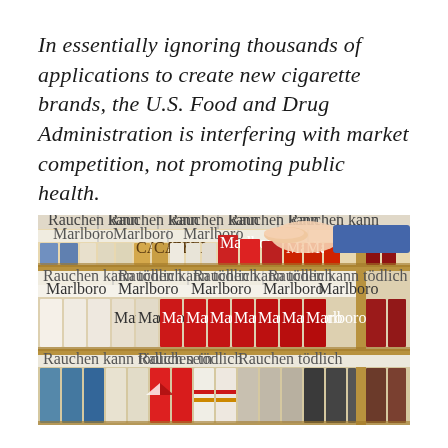In essentially ignoring thousands of applications to create new cigarette brands, the U.S. Food and Drug Administration is interfering with market competition, not promoting public health.
[Figure (photo): A hand reaching to grab a red Marlboro cigarette pack from a retail display shelf stocked with rows of various cigarette brands including Camel and Marlboro, arranged in a wooden shelving unit.]